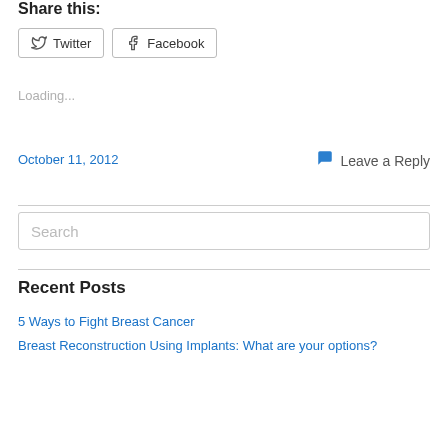Share this:
Twitter  Facebook
Loading...
October 11, 2012
Leave a Reply
Search
Recent Posts
5 Ways to Fight Breast Cancer
Breast Reconstruction Using Implants: What are your options?